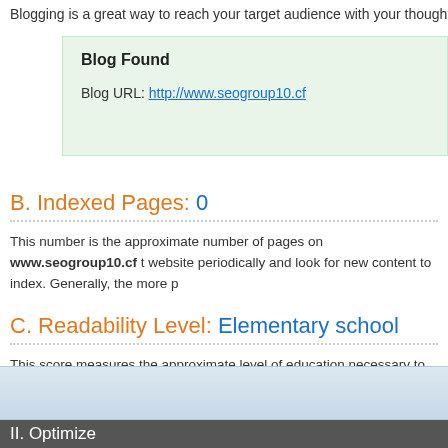Blogging is a great way to reach your target audience with your thoughts, op
Blog Found
Blog URL: http://www.seogroup10.cf
B. Indexed Pages: 0
This number is the approximate number of pages on www.seogroup10.cf t website periodically and look for new content to index. Generally, the more p
C. Readability Level: Elementary school
This score measures the approximate level of education necessary to read a simple so that a majority of the target audience can understand it.
II. Optimize